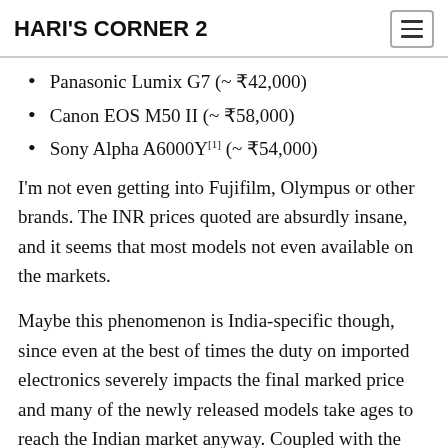HARI'S CORNER 2
Panasonic Lumix G7 (~ ₹42,000)
Canon EOS M50 II (~ ₹58,000)
Sony Alpha A6000Y[1] (~ ₹54,000)
I'm not even getting into Fujifilm, Olympus or other brands. The INR prices quoted are absurdly insane, and it seems that most models not even available on the markets.
Maybe this phenomenon is India-specific though, since even at the best of times the duty on imported electronics severely impacts the final marked price and many of the newly released models take ages to reach the Indian market anyway. Coupled with the semiconductor crisis that doesn't seem to be abating soon, I think we have a market where you shell out a premium even for several